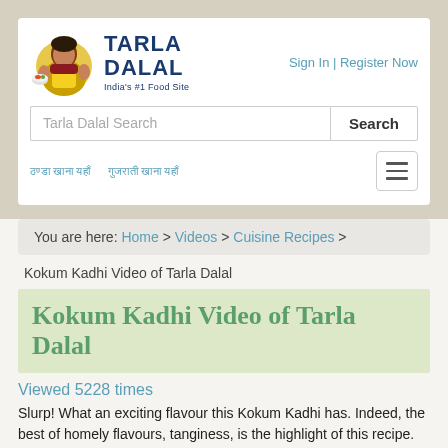Tarla Dalal — India's #1 Food Site | Sign In | Register Now
Tarla Dalal Search [Search button]
Navigation links in Hindi | Hamburger menu
You are here: Home > Videos > Cuisine Recipes >
Kokum Kadhi Video of Tarla Dalal
Kokum Kadhi Video of Tarla Dalal
Viewed 5228 times
Slurp! What an exciting flavour this Kokum Kadhi has. Indeed, the best of homely flavours, tanginess, is the highlight of this recipe. This recipe is quite different from any other kadhi because it uses neither curds nor besan. Instead, it harnesses the tangy flavour of